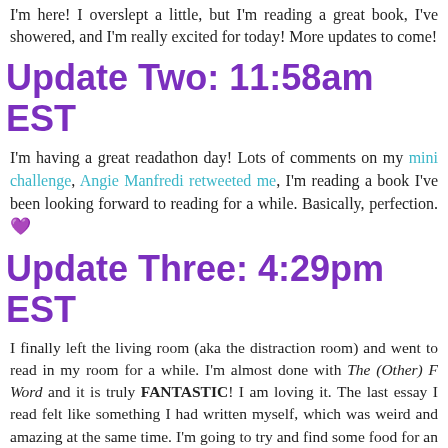I'm here! I overslept a little, but I'm reading a great book, I've showered, and I'm really excited for today! More updates to come!
Update Two: 11:58am EST
I'm having a great readathon day! Lots of comments on my mini challenge, Angie Manfredi retweeted me, I'm reading a book I've been looking forward to reading for a while. Basically, perfection. 💜
Update Three: 4:29pm EST
I finally left the living room (aka the distraction room) and went to read in my room for a while. I'm almost done with The (Other) F Word and it is truly FANTASTIC! I am loving it. The last essay I read felt like something I had written myself, which was weird and amazing at the same time. I'm going to try and find some food for an early dinner/snack session and then go back to reading! More updates soon!
Update Four: 8:30pm EST